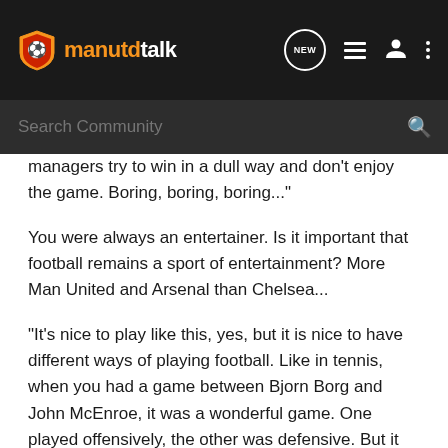manutdtalk
managers try to win in a dull way and don't enjoy the game. Boring, boring, boring..."
You were always an entertainer. Is it important that football remains a sport of entertainment? More Man United and Arsenal than Chelsea...
"It's nice to play like this, yes, but it is nice to have different ways of playing football. Like in tennis, when you had a game between Bjorn Borg and John McEnroe, it was a wonderful game. One played offensively, the other was defensive. But it was a great game, just like when United play against Chelsea it can be a great game. But today, unfortunately, you find more teams like Chelsea than United. But not so much in England. That is why it is still the most exciting championship in the world."